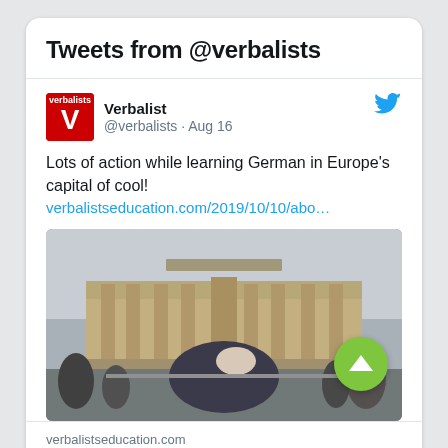Tweets from @verbalists
Verbalist @verbalists · Aug 16
Lots of action while learning German in Europe's capital of cool! verbalistseducation.com/2019/10/10/abo…
[Figure (photo): Students posing in front of the Brandenburg Gate in Berlin, Germany. A group of young people laughing and playing around, one being lifted, with a crowd of tourists in the background.]
verbalistseducation.com
Lots of action while learning German in